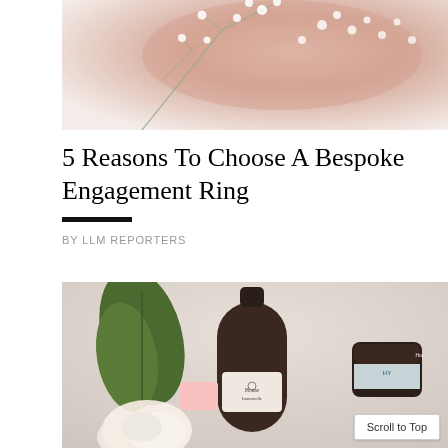[Figure (photo): Hand holding small white baby's breath flowers against a light background]
5 Reasons To Choose A Bespoke Engagement Ring
BY LLM REPORTERS
[Figure (photo): Beauty/skincare products including a dark glass bottle labeled House of Immortelle, surrounded by a white rose and green leaves. A cream jar labeled HY is visible on the right.]